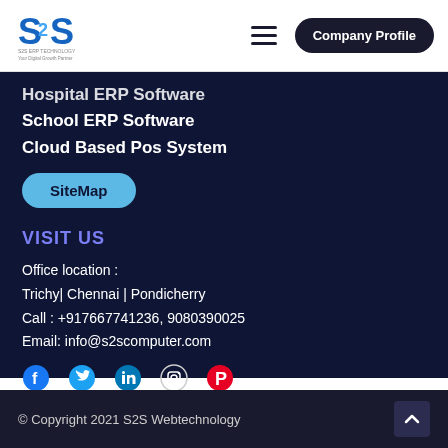S2S logo | hamburger menu | Company Profile
Hospital ERP Software
School ERP Software
Cloud Based Pos System
SiteMap
VISIT US
Office location :
Trichy| Chennai | Pondicherry
Call : +917667741236, 9080390025
Email: info@s2scomputer.com
[Figure (infographic): Social media icons: Facebook, Twitter, LinkedIn, Instagram, Pinterest]
© Copyright 2021 S2S Webtechnology